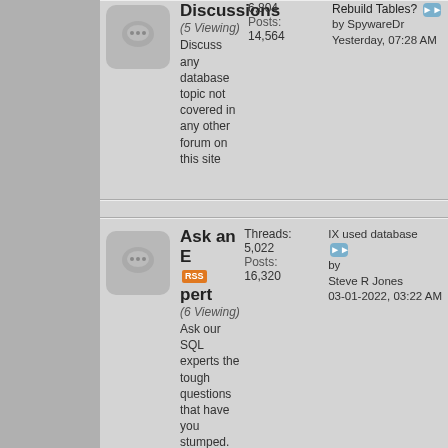Discussions (5 Viewing) Discuss any database topic not covered in any other forum on this site | Threads: 6,804 Posts: 14,564 | Rebuild Tables? by SpywareDr Yesterday, 07:28 AM
Ask an Expert (6 Viewing) Ask our SQL experts the tough questions that have you stumped. Members are limited to one question a week, so ask your questions wisely! | Threads: 5,022 Posts: 16,320 | IX used database by Steve R Jones 03-01-2022, 03:22 AM
Database Design (2 Viewing) Ask questions related to both logical and physical database design in this forum | Threads: 552 Posts: 982 | What's the best design for... by agron 05-13-2022, 11:47 PM
Database Programming (4 Viewing) Discussion on all database programming | Threads: 3,398 Posts: 8,622 | Database monitoring Scripts... by